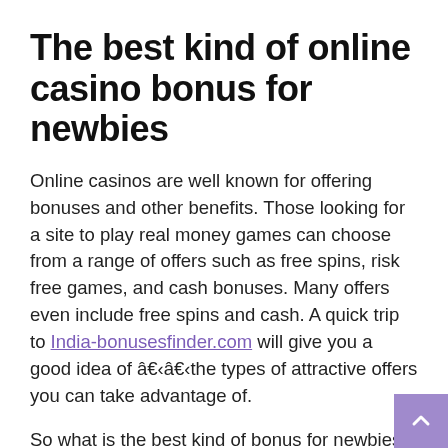The best kind of online casino bonus for newbies
Online casinos are well known for offering bonuses and other benefits. Those looking for a site to play real money games can choose from a range of offers such as free spins, risk free games, and cash bonuses. Many offers even include free spins and cash. A quick trip to India-bonusesfinder.com will give you a good idea of â€‹â€‹the types of attractive offers you can take advantage of.
So what is the best kind of bonus for newbies? Well, it really depends on what kind of gamer you are. If you love slots games, you can't go wrong claiming a free spins package. Those who like to mix things up will probably prefer bonus cash or a risk-free period of play. Tony Sloterman, the owner of Casino Bonus Finder, gives new and experienced players access to a wide range of great offers. These offers include no deposit offers,